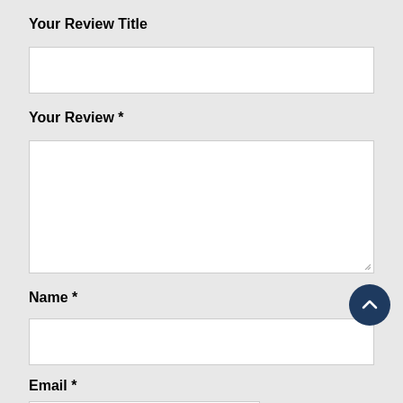Your Review Title
[Figure (other): Empty text input field for review title]
Your Review *
[Figure (other): Empty textarea for review text with resize handle]
Name *
[Figure (other): Empty text input field for name]
Email *
[Figure (other): Partially visible empty text input field for email]
[Figure (other): Back to top circular button with upward chevron arrow]